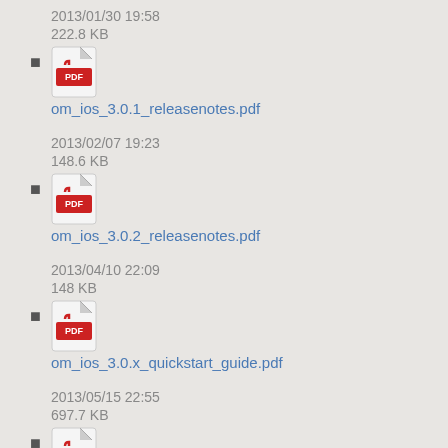2013/01/30 19:58
222.8 KB
om_ios_3.0.1_releasenotes.pdf
2013/02/07 19:23
148.6 KB
om_ios_3.0.2_releasenotes.pdf
2013/04/10 22:09
148 KB
om_ios_3.0.x_quickstart_guide.pdf
2013/05/15 22:55
697.7 KB